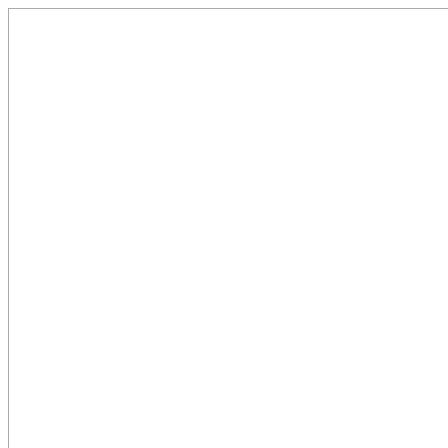[Figure (other): Empty white box / image placeholder on the left side of the page]
| Attribute | Value |
| --- | --- |
| Chain | Sachs F... 3/32` |
| Chain Size | 1/2 x 3/... |
| Chainrings | Unspec... |
| Crankset | Sugino |
| Front Derailleur | Sachs N... |
| Front Derailleur Type | Unspec... |
| Handlebar | Rans Fl... |
| Handlebar Extensions | Not incl... |
| Handlebar Stem | Rans |
| Head Tube Angle | custom... |
| Headset | Not app... |
| Headset Diameter | Not app... |
| Largest Rear Cog | 30 |
| Number of Rear Cogs | 7-speed |
| Pedals | Not incl... |
| Rear Cogs | 7-speed... teeth |